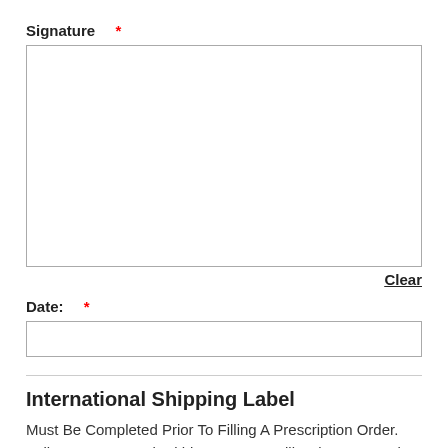Signature  *
[Figure (other): Empty signature input box]
Clear
Date:  *
[Figure (other): Empty date input box]
International Shipping Label
Must Be Completed Prior To Filling A Prescription Order. Failure To Respond Within 24 Hours Will Delay Your Order.